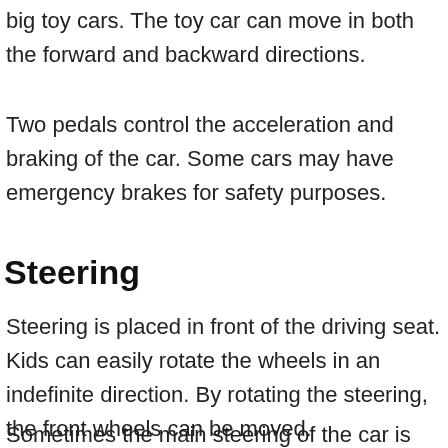big toy cars. The toy car can move in both the forward and backward directions.
Two pedals control the acceleration and braking of the car. Some cars may have emergency brakes for safety purposes.
Steering
Steering is placed in front of the driving seat. Kids can easily rotate the wheels in an indefinite direction. By rotating the steering, the front wheels can be moved.
Sometimes the main steering of the car is attached to a handle (placed at the back of the car). Adults can control